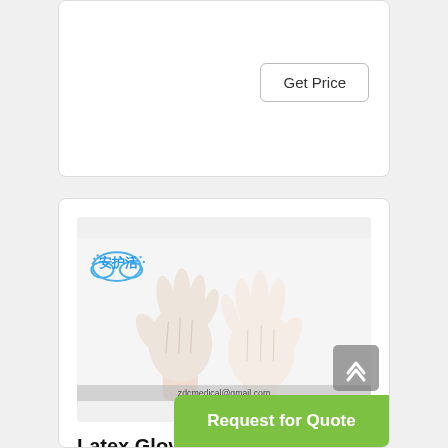Get Price
[Figure (photo): Product image of white latex/disposable gloves being worn on two hands, with a blue cloud logo and Chinese characters (安护活) in the top left, and watermark text 'zdcmedical@gmail.com' at the bottom.]
Latex Gloves | Disposable Gloves | Powder Free …
Latex gloves are disposable gloves, made 100% out of latex rubber and used for a number of medical and industrial tasks. Latex gloves
Request for Quote